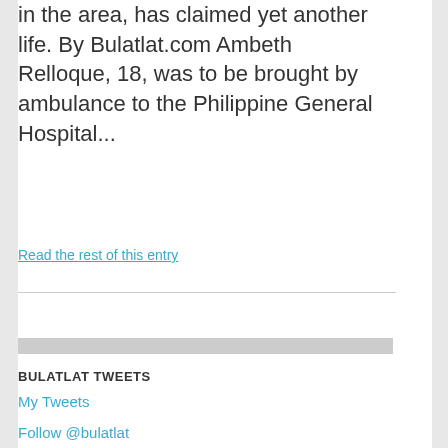in the area, has claimed yet another life. By Bulatlat.com Ambeth Relloque, 18, was to be brought by ambulance to the Philippine General Hospital...
Read the rest of this entry
BULATLAT TWEETS
My Tweets
Follow @bulatlat